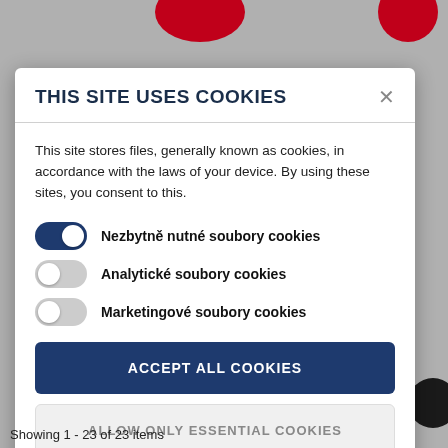THIS SITE USES COOKIES
This site stores files, generally known as cookies, in accordance with the laws of your device. By using these sites, you consent to this.
Nezbytně nutné soubory cookies
Analytické soubory cookies
Marketingové soubory cookies
ACCEPT ALL COOKIES
ALLOW ONLY ESSENTIAL COOKIES
More information
Showing 1 - 23 of 23 items